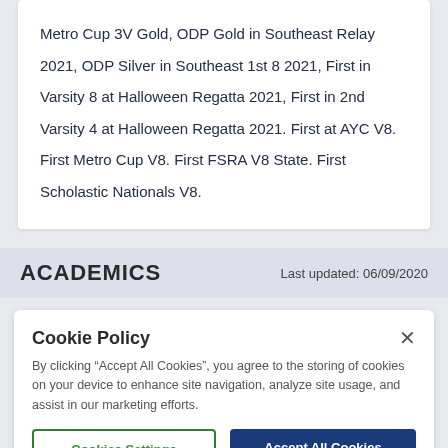Metro Cup 3V Gold, ODP Gold in Southeast Relay 2021, ODP Silver in Southeast 1st 8 2021, First in Varsity 8 at Halloween Regatta 2021, First in 2nd Varsity 4 at Halloween Regatta 2021. First at AYC V8. First Metro Cup V8. First FSRA V8 State. First Scholastic Nationals V8.
ACADEMICS
Last updated: 06/09/2020
Cookie Policy
By clicking “Accept All Cookies”, you agree to the storing of cookies on your device to enhance site navigation, analyze site usage, and assist in our marketing efforts.
Cookies Settings
Accept All Cookies